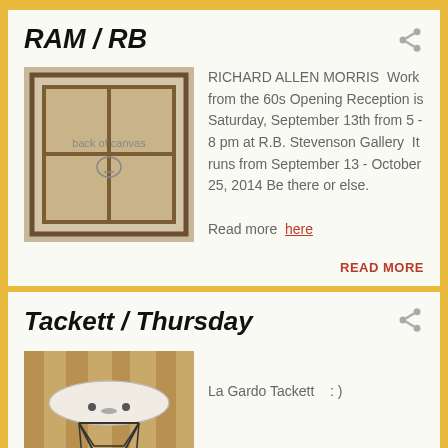RAM / RB
[Figure (photo): Back of a framed canvas painting, showing wooden stretcher bars and aged canvas]
RICHARD ALLEN MORRIS  Work from the 60s  Opening Reception is Saturday, September 13th from 5 - 8 pm at R.B. Stevenson Gallery  It runs from September 13 - October 25, 2014 Be there or else.  Read more  here
READ MORE
Tackett / Thursday
[Figure (photo): A white ceramic bird or figure sculpture resting on a wooden table with a wire Eiffel base underneath]
La Gardo Tackett    : )